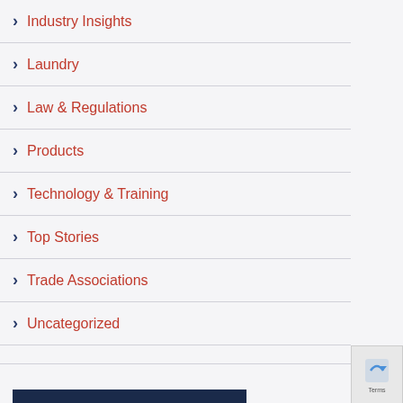Industry Insights
Laundry
Law & Regulations
Products
Technology & Training
Top Stories
Trade Associations
Uncategorized
ALL NEWS ARTICLES